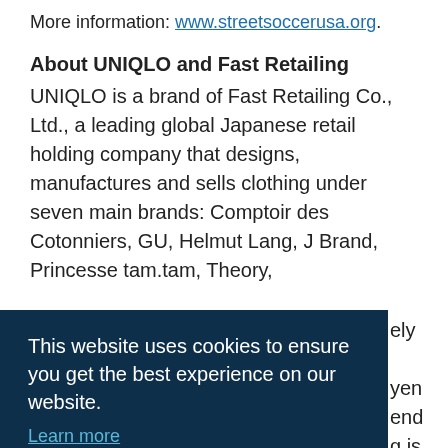More information: www.streetsoccerusa.org.
About UNIQLO and Fast Retailing
UNIQLO is a brand of Fast Retailing Co., Ltd., a leading global Japanese retail holding company that designs, manufactures and sells clothing under seven main brands: Comptoir des Cotonniers, GU, Helmut Lang, J Brand, Princesse tam.tam, Theory, [partially obscured] ely [partially obscured] yen end [partially obscured] g is [partially obscured] anies, [partially obscured] er.
This website uses cookies to ensure you get the best experience on our website. Learn more Got it!